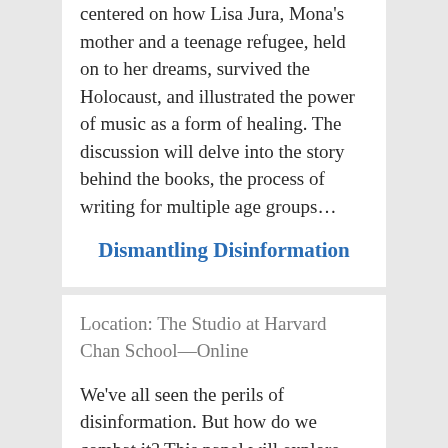centered on how Lisa Jura, Mona's mother and a teenage refugee, held on to her dreams, survived the Holocaust, and illustrated the power of music as a form of healing. The discussion will delve into the story behind the books, the process of writing for multiple age groups…
Dismantling Disinformation
Location: The Studio at Harvard Chan School—Online
We've all seen the perils of disinformation. But how do we combat it? This panel will explore concrete proposals for dismantling